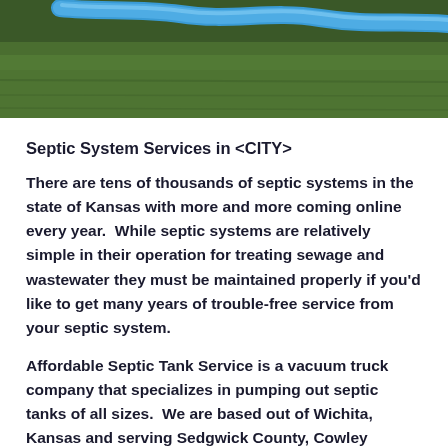[Figure (photo): Photo of green grass lawn with a blue hose/pipe running across it]
Septic System Services in <CITY>
There are tens of thousands of septic systems in the state of Kansas with more and more coming online every year.  While septic systems are relatively simple in their operation for treating sewage and wastewater they must be maintained properly if you'd like to get many years of trouble-free service from your septic system.
Affordable Septic Tank Service is a vacuum truck company that specializes in pumping out septic tanks of all sizes.  We are based out of Wichita, Kansas and serving Sedgwick County, Cowley